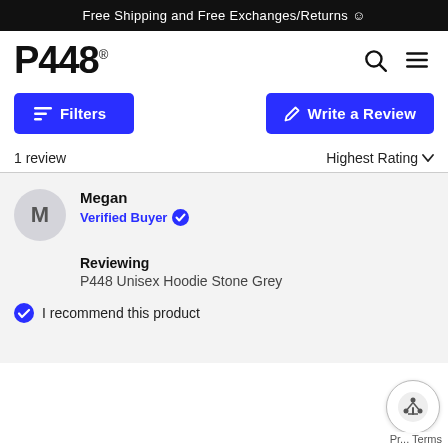Free Shipping and Free Exchanges/Returns ☺
[Figure (logo): P448 brand logo with registered trademark symbol]
Filters
Write a Review
1 review
Highest Rating
Megan
Verified Buyer
Reviewing
P448 Unisex Hoodie Stone Grey
I recommend this product